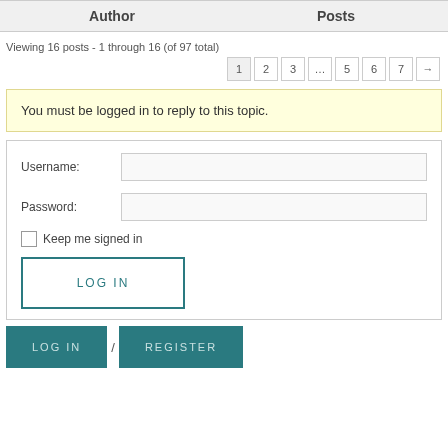| Author | Posts |
| --- | --- |
Viewing 16 posts - 1 through 16 (of 97 total)
1 2 3 … 5 6 7 →
You must be logged in to reply to this topic.
Username:
Password:
Keep me signed in
LOG IN
LOG IN / REGISTER